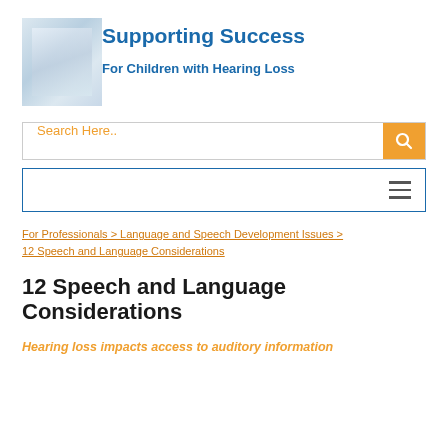Supporting Success
For Children with Hearing Loss
Search Here..
Navigation menu
For Professionals > Language and Speech Development Issues > 12 Speech and Language Considerations
12 Speech and Language Considerations
Hearing loss impacts access to auditory information